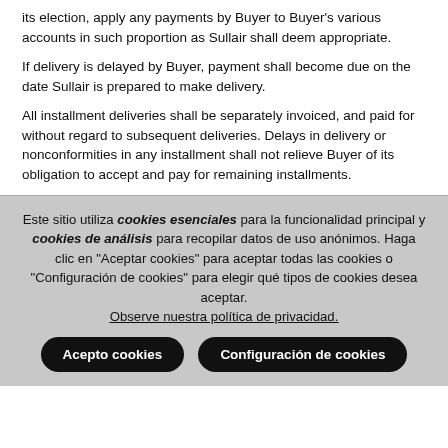its election, apply any payments by Buyer to Buyer's various accounts in such proportion as Sullair shall deem appropriate.
If delivery is delayed by Buyer, payment shall become due on the date Sullair is prepared to make delivery.
All installment deliveries shall be separately invoiced, and paid for without regard to subsequent deliveries. Delays in delivery or nonconformities in any installment shall not relieve Buyer of its obligation to accept and pay for remaining installments.
Este sitio utiliza cookies esenciales para la funcionalidad principal y cookies de análisis para recopilar datos de uso anónimos. Haga clic en "Aceptar cookies" para aceptar todas las cookies o "Configuración de cookies" para elegir qué tipos de cookies desea aceptar. Observe nuestra política de privacidad.